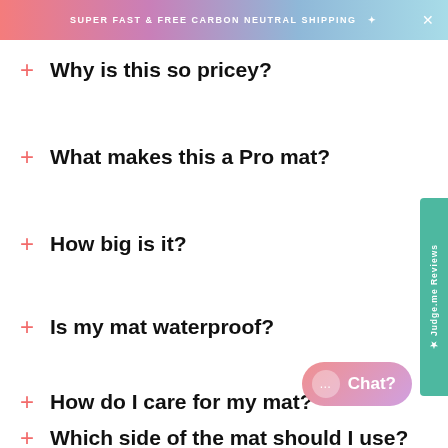SUPER FAST & FREE CARBON NEUTRAL SHIPPING
Why is this so pricey?
What makes this a Pro mat?
How big is it?
Is my mat waterproof?
How do I care for my mat?
Which side of the mat should I use?